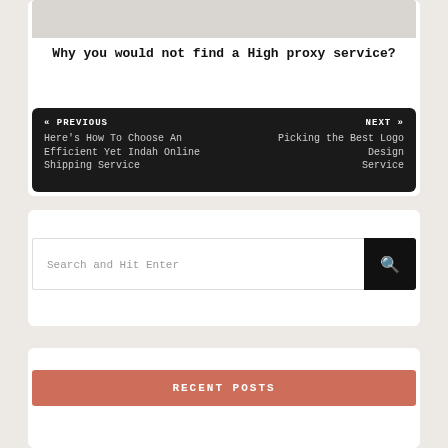[Figure (photo): Gray placeholder image at top of white card]
Why you would not find a High proxy service?
« PREVIOUS
Here's How To Choose An Efficient Yet Indah Online Shipping Service
NEXT »
Picking the Best Logo Design Service
Search and Hit Enter
RECENT POSTS